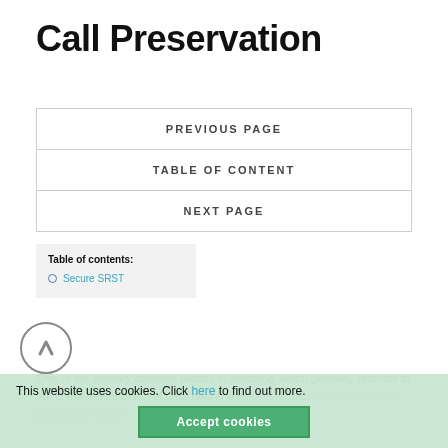Call Preservation
PREVIOUS PAGE
TABLE OF CONTENT
NEXT PAGE
Table of contents:
Secure SRST
One of the primary decision factors in selecting which gateway protocol to run is the preservation of calls during a failover situation. As discussed previously, MGCP ga... over from its primary CallManager to its secondary
This website uses cookies. Click here to find out more. Accept cookies